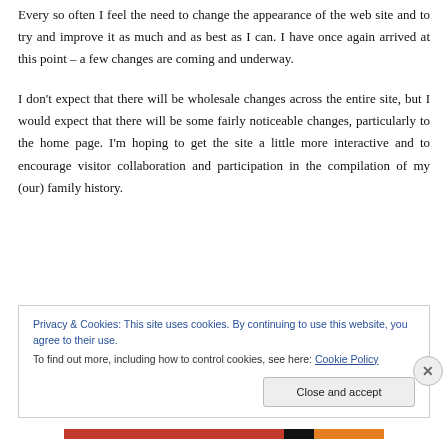Every so often I feel the need to change the appearance of the web site and to try and improve it as much and as best as I can. I have once again arrived at this point – a few changes are coming and underway.
I don't expect that there will be wholesale changes across the entire site, but I would expect that there will be some fairly noticeable changes, particularly to the home page. I'm hoping to get the site a little more interactive and to encourage visitor collaboration and participation in the compilation of my (our) family history.
Privacy & Cookies: This site uses cookies. By continuing to use this website, you agree to their use.
To find out more, including how to control cookies, see here: Cookie Policy
Close and accept